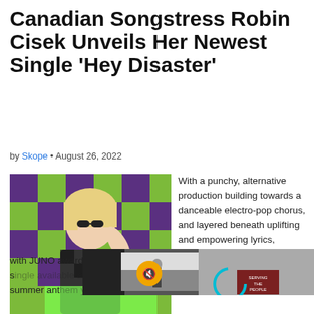Canadian Songstress Robin Cisek Unveils Her Newest Single 'Hey Disaster'
by Skope • August 26, 2022
[Figure (photo): Photo of Robin Cisek, a blonde woman in a checkered dress posing against a green and purple checkered background]
With a punchy, alternative production building towards a danceable electro-pop chorus, and layered beneath uplifting and empowering lyrics,
with JUNO award-win her new anthemic s https://open.spotify 1j6 The summer ant just can't fit...
[Figure (screenshot): Video overlay with banner reading 'One Good Thing: Philly Barber Offer...' showing an outdoor scene with a tent and a sign reading 'SERVING THE PEOPLE']